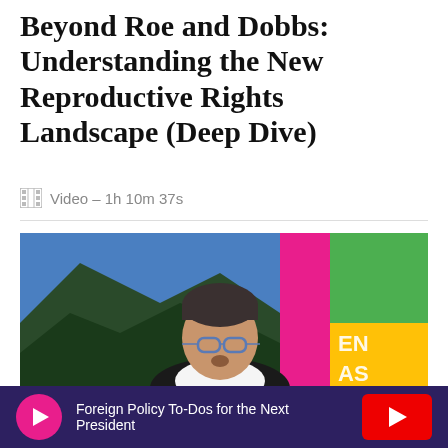Beyond Roe and Dobbs: Understanding the New Reproductive Rights Landscape (Deep Dive)
Video – 1h 10m 37s
[Figure (photo): A man with glasses and dark hair wearing a dark blazer speaking at an event, with colorful panels in the background (blue, pink, green, yellow) and partial text 'EN AS' visible.]
Foreign Policy To-Dos for the Next President